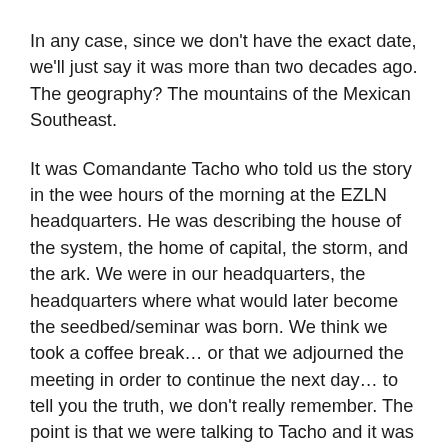In any case, since we don't have the exact date, we'll just say it was more than two decades ago. The geography? The mountains of the Mexican Southeast.
It was Comandante Tacho who told us the story in the wee hours of the morning at the EZLN headquarters. He was describing the house of the system, the home of capital, the storm, and the ark. We were in our headquarters, the headquarters where what would later become the seedbed/seminar was born. We think we took a coffee break… or that we adjourned the meeting in order to continue the next day… to tell you the truth, we don't really remember. The point is that we were talking to Tacho and it was he who told us what we're going to tell you now. There is of course a little bit of finagling involved because we have added to and rearranged Tacho's original words.